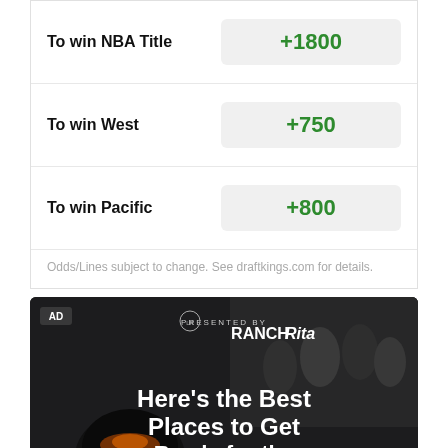| Bet | Odds |
| --- | --- |
| To win NBA Title | +1800 |
| To win West | +750 |
| To win Pacific | +800 |
Odds/Lines subject to change. See draftkings.com for details.
[Figure (photo): Advertisement banner: PRESENTED BY RANCH Rita logo with background image of people at a BBQ/grill event. Text reads: Here's the Best Places to Get Ready for the Biggest NFL Games]